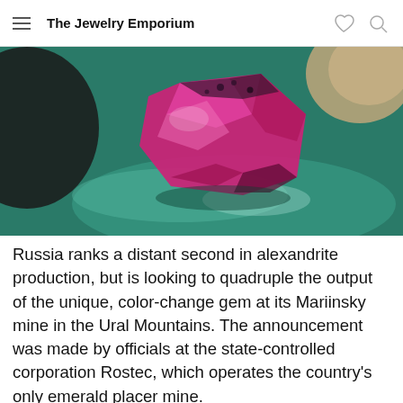The Jewelry Emporium
[Figure (photo): A vibrant pink/magenta rough alexandrite gemstone resting on a green surface, photographed close-up with bokeh background.]
Russia ranks a distant second in alexandrite production, but is looking to quadruple the output of the unique, color-change gem at its Mariinsky mine in the Ural Mountains. The announcement was made by officials at the state-controlled corporation Rostec, which operates the country's only emerald placer mine.